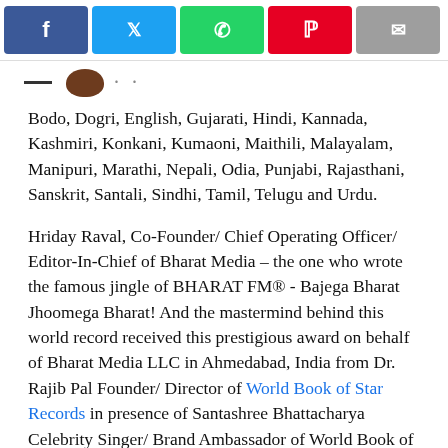[Figure (other): Social media sharing buttons: Facebook (blue), Twitter (cyan), WhatsApp (green), Pinterest (red), Email (grey)]
Bodo, Dogri, English, Gujarati, Hindi, Kannada, Kashmiri, Konkani, Kumaoni, Maithili, Malayalam, Manipuri, Marathi, Nepali, Odia, Punjabi, Rajasthani, Sanskrit, Santali, Sindhi, Tamil, Telugu and Urdu.
Hriday Raval, Co-Founder/ Chief Operating Officer/ Editor-In-Chief of Bharat Media – the one who wrote the famous jingle of BHARAT FM® - Bajega Bharat Jhoomega Bharat! And the mastermind behind this world record received this prestigious award on behalf of Bharat Media LLC in Ahmedabad, India from Dr. Rajib Pal Founder/ Director of World Book of Star Records in presence of Santashree Bhattacharya Celebrity Singer/ Brand Ambassador of World Book of Star